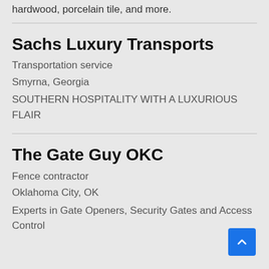hardwood, porcelain tile, and more.
Sachs Luxury Transports
Transportation service
Smyrna, Georgia
SOUTHERN HOSPITALITY WITH A LUXURIOUS FLAIR
The Gate Guy OKC
Fence contractor
Oklahoma City, OK
Experts in Gate Openers, Security Gates and Access Control